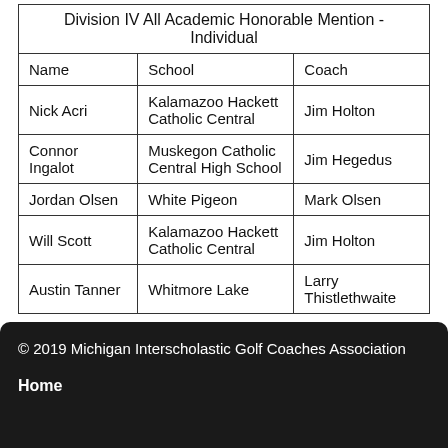| Name | School | Coach |
| --- | --- | --- |
| Nick Acri | Kalamazoo Hackett Catholic Central | Jim Holton |
| Connor Ingalot | Muskegon Catholic Central High School | Jim Hegedus |
| Jordan Olsen | White Pigeon | Mark Olsen |
| Will Scott | Kalamazoo Hackett Catholic Central | Jim Holton |
| Austin Tanner | Whitmore Lake | Larry Thistlethwaite |
© 2019 Michigan Interscholastic Golf Coaches Association
Home